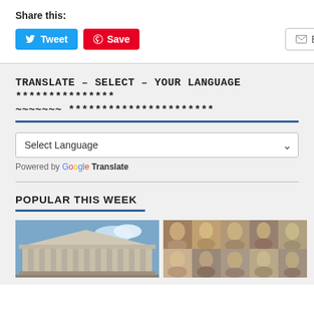Share this:
[Figure (screenshot): Social share buttons: Tweet (blue), Save (red/Pinterest), Email (gray outlined)]
TRANSLATE – SELECT – YOUR LANGUAGE *************** ~~~~~~~ **********************
Select Language
Powered by Google Translate
POPULAR THIS WEEK
[Figure (photo): Photo of a classical building with columns (British Museum style)]
[Figure (photo): Grid of ancient Greek/Roman busts and sculptures]